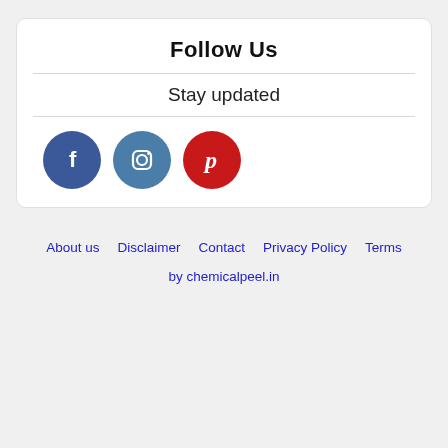Follow Us
Stay updated
[Figure (illustration): Three social media icon circles: Facebook (dark blue with 'f'), Instagram (medium blue with camera icon), Pinterest (red with 'P')]
About us  Disclaimer  Contact  Privacy Policy  Terms
by chemicalpeel.in